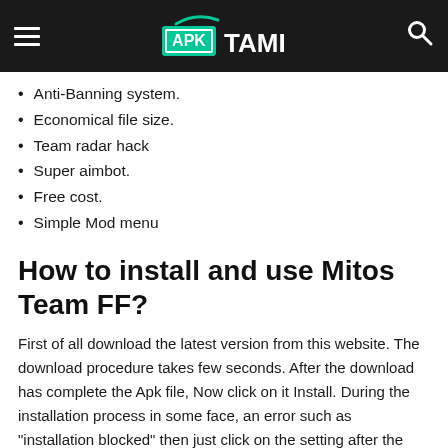APK TAMI
Anti-Banning system.
Economical file size.
Team radar hack
Super aimbot.
Free cost.
Simple Mod menu
How to install and use Mitos Team FF?
First of all download the latest version from this website. The download procedure takes few seconds. After the download has complete the Apk file, Now click on it Install. During the installation process in some face, an error such as "installation blocked" then just click on the setting after the security setting after the unknown Source after check it. Now again install the Apk file on an android device. Now installation is complete then you can use it.